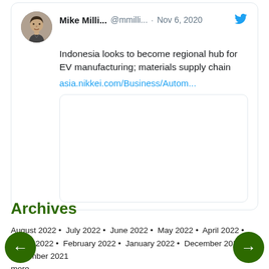[Figure (screenshot): Tweet from Mike Milli... (@mmilli...) dated Nov 6, 2020: Indonesia looks to become regional hub for EV manufacturing; materials supply chain. Link: asia.nikkei.com/Business/Autom... With a linked article image placeholder below.]
Archives
August 2022 • July 2022 • June 2022 • May 2022 • April 2022 • March 2022 • February 2022 • January 2022 • December 2021 • November 2021
more...